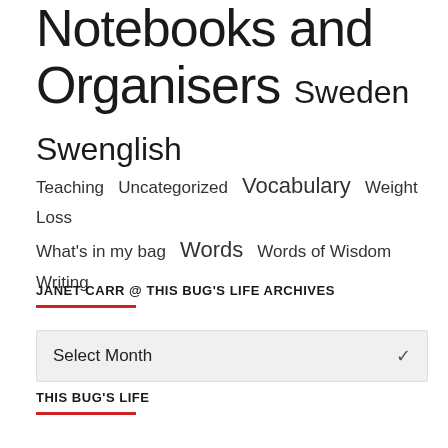Notebooks and Organisers Sweden Swenglish
Teaching  Uncategorized  Vocabulary  Weight Loss  What's in my bag  Words  Words of Wisdom  Writing
JANET CARR @ THIS BUG'S LIFE ARCHIVES
Select Month
THIS BUG'S LIFE